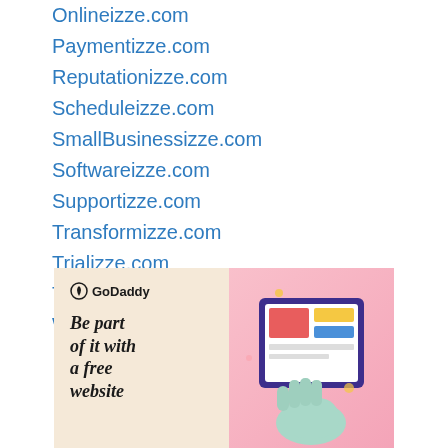Onlineizze.com
Paymentizze.com
Reputationizze.com
Scheduleizze.com
SmallBusinessizze.com
Softwareizze.com
Supportizze.com
Transformizze.com
Trializze.com
Tripizze.com
Websiteizze.com
[Figure (illustration): GoDaddy advertisement banner with cream/beige left panel showing GoDaddy logo and bold italic text 'Be part of it with a free website' and pink right panel showing a hand holding a tablet with website design elements]